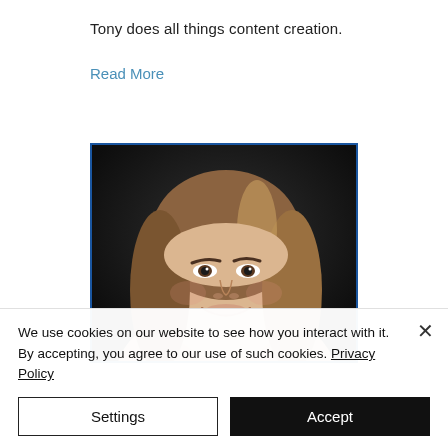Tony does all things content creation.
Read More
[Figure (photo): Portrait photo of a woman with long brown hair smiling, against a dark background, with a blue border frame]
We use cookies on our website to see how you interact with it. By accepting, you agree to our use of such cookies. Privacy Policy
Settings
Accept